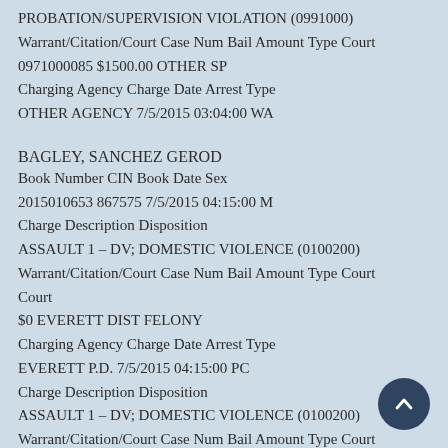PROBATION/SUPERVISION VIOLATION (0991000)
Warrant/Citation/Court Case Num Bail Amount Type Court
0971000085 $1500.00 OTHER SP
Charging Agency Charge Date Arrest Type
OTHER AGENCY 7/5/2015 03:04:00 WA
BAGLEY, SANCHEZ GEROD
Book Number CIN Book Date Sex
2015010653 867575 7/5/2015 04:15:00 M
Charge Description Disposition
ASSAULT 1 – DV; DOMESTIC VIOLENCE (0100200)
Warrant/Citation/Court Case Num Bail Amount Type Court
$0 EVERETT DIST FELONY
Charging Agency Charge Date Arrest Type
EVERETT P.D. 7/5/2015 04:15:00 PC
Charge Description Disposition
ASSAULT 1 – DV; DOMESTIC VIOLENCE (0100200)
Warrant/Citation/Court Case Num Bail Amount Type Court
Court